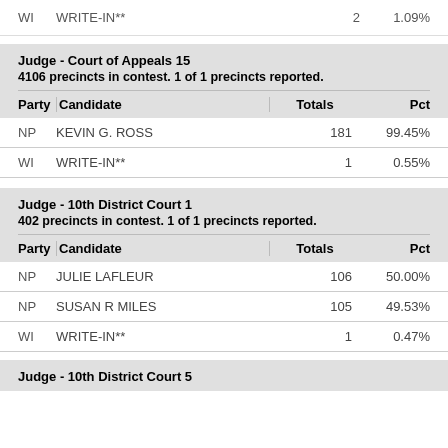| Party | Candidate | Totals | Pct |
| --- | --- | --- | --- |
| WI | WRITE-IN** | 2 | 1.09% |
| Party | Candidate | Totals | Pct |
| --- | --- | --- | --- |
| NP | KEVIN G. ROSS | 181 | 99.45% |
| WI | WRITE-IN** | 1 | 0.55% |
| Party | Candidate | Totals | Pct |
| --- | --- | --- | --- |
| NP | JULIE LAFLEUR | 106 | 50.00% |
| NP | SUSAN R MILES | 105 | 49.53% |
| WI | WRITE-IN** | 1 | 0.47% |
Judge - 10th District Court 5